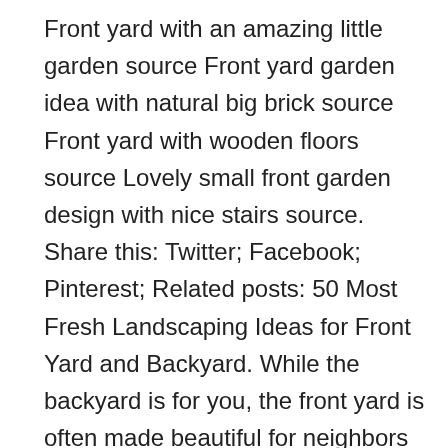Front yard with an amazing little garden source Front yard garden idea with natural big brick source Front yard with wooden floors source Lovely small front garden design with nice stairs source. Share this: Twitter; Facebook; Pinterest; Related posts: 50 Most Fresh Landscaping Ideas for Front Yard and Backyard. While the backyard is for you, the front yard is often made beautiful for neighbors and the public generally. Gardeners have a real advantage when it comes to making a welcoming home because at least 50% of a home's curb appeal is the front yard gardens. Consider this incredible photo gallery of front yard garden ideas. Front Yard Corner Lot Landscaping Ideas & Ideas For Front Yard Landscaping – When you have a front yard, you may want to make it a nice part of the garden or corner lot. In this case, it does